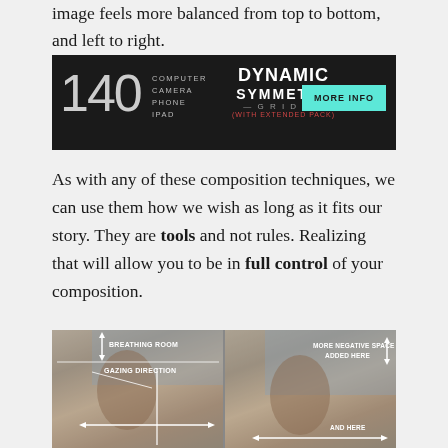image feels more balanced from top to bottom, and left to right.
[Figure (infographic): Advertisement banner for '140 Dynamic Symmetry Grids' product for Computer, Camera, Phone, iPad with a teal MORE INFO button on dark background]
As with any of these composition techniques, we can use them how we wish as long as it fits our story. They are tools and not rules. Realizing that will allow you to be in full control of your composition.
[Figure (photo): Two side-by-side images of a painting of a woman with long hair holding a skull. Left image shows annotations: BREATHING ROOM (vertical arrow at top), GAZING DIRECTION (with crosshair arrows). Right image shows MORE NEGATIVE SPACE ADDED HERE (top right) and AND HERE (bottom right) with horizontal arrow.]